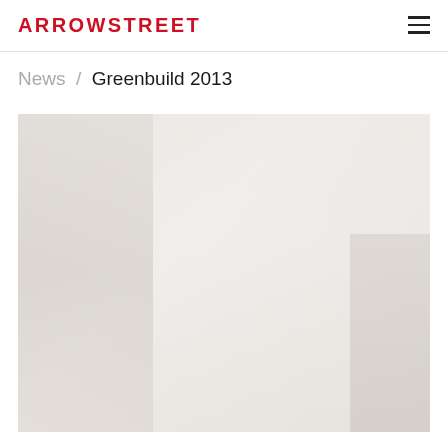ARROWSTREET
News / Greenbuild 2013
[Figure (photo): Washed-out photograph related to Greenbuild 2013 event, showing a crowd or exhibition hall scene in very light, faded tones]